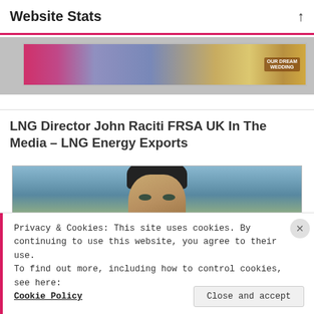Website Stats
[Figure (photo): Top banner image strip showing colorful photo collage with 'OUR DREAM WEDDING' text visible on the right side]
LNG Director John Raciti FRSA UK In The Media – LNG Energy Exports
[Figure (photo): Close-up photo of a young man with dark hair, outdoors with blurred trees in background]
Privacy & Cookies: This site uses cookies. By continuing to use this website, you agree to their use.
To find out more, including how to control cookies, see here: Cookie Policy
Close and accept